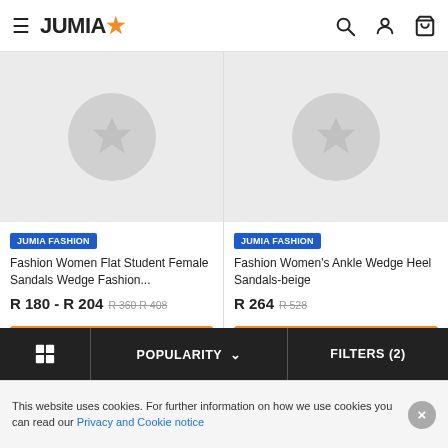JUMIA
[Figure (screenshot): Product card 1: Fashion Women Flat Student Female Sandals Wedge Fashion... Price R 180 - R 204, original R 360 - R 408, JUMIA FASHION badge, ADD TO CART button]
[Figure (screenshot): Product card 2: Fashion Women's Ankle Wedge Heel Sandals-beige. Price R 264, original R 528, JUMIA FASHION badge, ADD TO CART button]
POPULARITY  FILTERS (2)
This website uses cookies. For further information on how we use cookies you can read our Privacy and Cookie notice